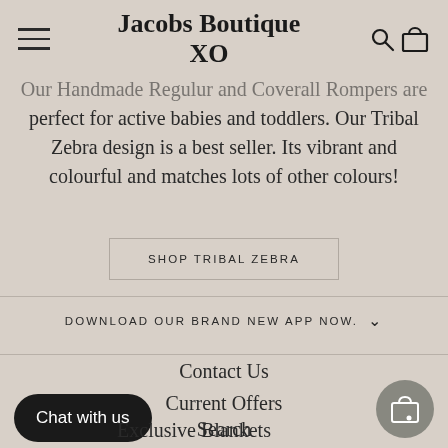Jacobs Boutique XO
Our Handmade Regulur and Coverall Rompers are perfect for active babies and toddlers. Our Tribal Zebra design is a best seller. Its vibrant and colourful and matches lots of other colours!
SHOP TRIBAL ZEBRA
DOWNLOAD OUR BRAND NEW APP NOW.
Contact Us
Current Offers
Search
Exclusive Blankets